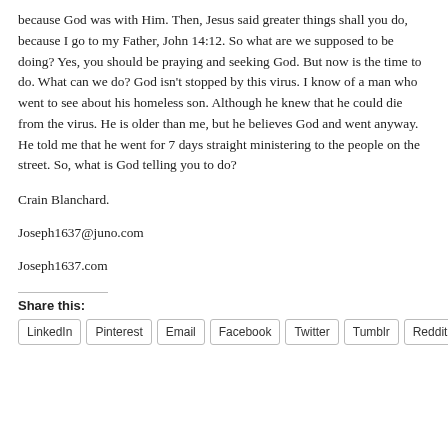because God was with Him. Then, Jesus said greater things shall you do, because I go to my Father, John 14:12. So what are we supposed to be doing? Yes, you should be praying and seeking God. But now is the time to do. What can we do? God isn't stopped by this virus. I know of a man who went to see about his homeless son. Although he knew that he could die from the virus. He is older than me, but he believes God and went anyway. He told me that he went for 7 days straight ministering to the people on the street. So, what is God telling you to do?
Crain Blanchard.
Joseph1637@juno.com
Joseph1637.com
Share this:
LinkedIn
Pinterest
Email
Facebook
Twitter
Tumblr
Reddit